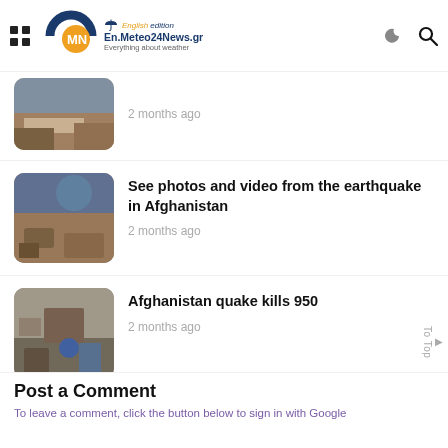[Figure (logo): En.Meteo24News.gr website logo with MN letters in circle, English edition label and umbrella icon, tagline: Everything about weather]
[Figure (photo): Thumbnail photo of earthquake damage, mudslide or flood, top article]
2 months ago
[Figure (photo): Thumbnail photo of earthquake damage in Afghanistan, rocky landscape]
See photos and video from the earthquake in Afghanistan
2 months ago
[Figure (photo): Thumbnail photo of Afghanistan earthquake aftermath, people in rubble]
Afghanistan quake kills 950
2 months ago
Post a Comment
To leave a comment, click the button below to sign in with Google